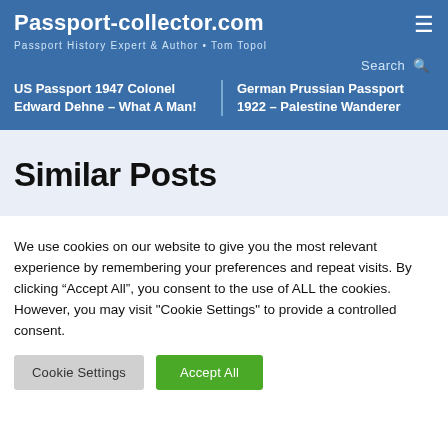Passport-collector.com
Passport History Expert & Author • Tom Topol
US Passport 1947 Colonel Edward Dehne – What A Man!
German Prussian Passport 1922 – Palestine Wanderer
Similar Posts
We use cookies on our website to give you the most relevant experience by remembering your preferences and repeat visits. By clicking "Accept All", you consent to the use of ALL the cookies. However, you may visit "Cookie Settings" to provide a controlled consent.